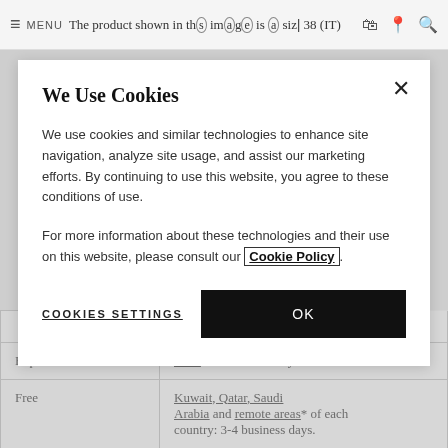The product shown in this image is a size 38 (IT)
We Use Cookies
We use cookies and similar technologies to enhance site navigation, analyze site usage, and assist our marketing efforts. By continuing to use this website, you agree to these conditions of use.
For more information about these technologies and their use on this website, please consult our Cookie Policy.
COOKIES SETTINGS
OK
|  |  |
| --- | --- |
| Express | UAE: 2-3 business days. |
| Free | Kuwait, Qatar, Saudi Arabia and remote areas* of each country: 3-4 business days. |